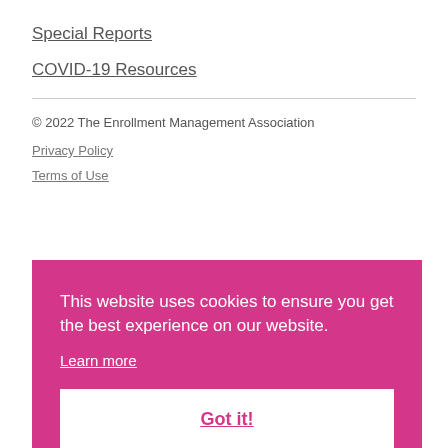Special Reports
COVID-19 Resources
© 2022 The Enrollment Management Association
Privacy Policy
Terms of Use
This website uses cookies to ensure you get the best experience on our website. Learn more Got it!